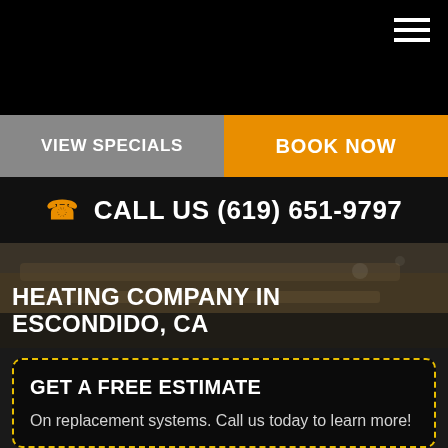[Figure (screenshot): Black navigation bar with hamburger menu icon (three white horizontal lines) in the top-right corner]
VIEW SPECIALS
BOOK NOW
CALL US (619) 651-9797
HEATING COMPANY IN ESCONDIDO, CA
GET A FREE ESTIMATE
On replacement systems. Call us today to learn more!